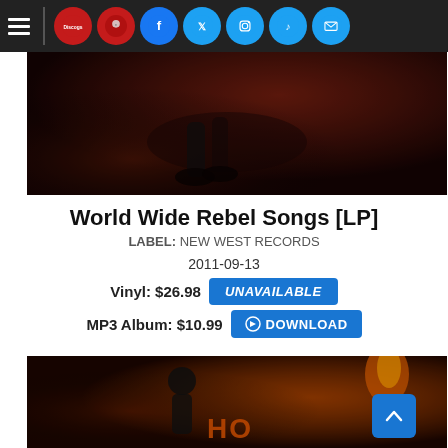Navigation bar with hamburger menu, Discogs, podcast, Facebook, Twitter, Instagram, TikTok, and email icons
[Figure (photo): Dark reddish-brown hero image showing boots/legs on a surface, moody atmospheric lighting]
World Wide Rebel Songs [LP]
LABEL: NEW WEST RECORDS
2011-09-13
Vinyl: $26.98  UNAVAILABLE
MP3 Album: $10.99  ⊕ DOWNLOAD
[Figure (photo): Bottom hero image showing a man with a flaming torch against a brick wall background]